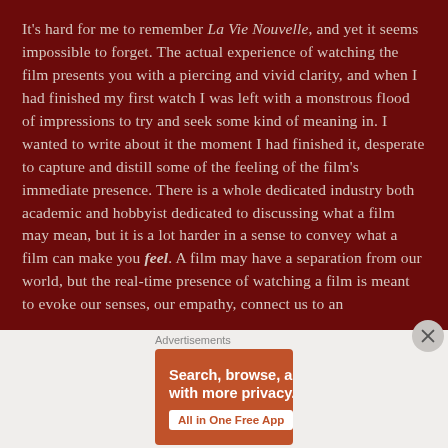It's hard for me to remember La Vie Nouvelle, and yet it seems impossible to forget. The actual experience of watching the film presents you with a piercing and vivid clarity, and when I had finished my first watch I was left with a monstrous flood of impressions to try and seek some kind of meaning in. I wanted to write about it the moment I had finished it, desperate to capture and distill some of the feeling of the film's immediate presence. There is a whole dedicated industry both academic and hobbyist dedicated to discussing what a film may mean, but it is a lot harder in a sense to convey what a film can make you feel. A film may have a separation from our world, but the real-time presence of watching a film is meant to evoke our senses, our empathy, connect us to an
[Figure (other): DuckDuckGo advertisement banner with orange background showing text 'Search, browse, and email with more privacy. All in One Free App' with a phone displaying the DuckDuckGo logo]